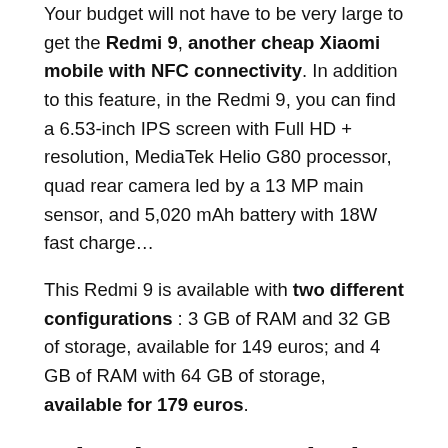Your budget will not have to be very large to get the Redmi 9, another cheap Xiaomi mobile with NFC connectivity. In addition to this feature, in the Redmi 9, you can find a 6.53-inch IPS screen with Full HD + resolution, MediaTek Helio G80 processor, quad rear camera led by a 13 MP main sensor, and 5,020 mAh battery with 18W fast charge…
This Redmi 9 is available with two different configurations : 3 GB of RAM and 32 GB of storage, available for 149 euros; and 4 GB of RAM with 64 GB of storage, available for 179 euros.
What is NFC, and what is it for?
NFC or Near Field Communication is a technology that has been gaining its presence in mobile phones. And it is that there are several applications of this connectivity, all of them beneficial, easing the most day-to-day…